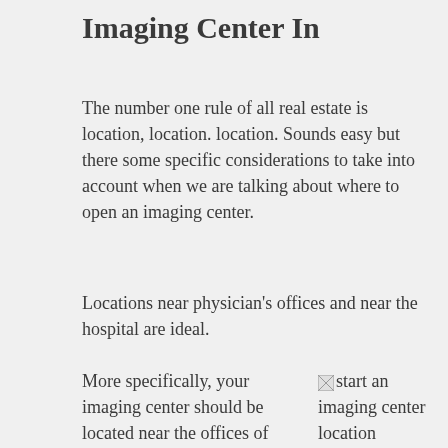Imaging Center In
The number one rule of all real estate is location, location. location. Sounds easy but there some specific considerations to take into account when we are talking about where to open an imaging center.
Locations near physician's offices and near the hospital are ideal.
More specifically, your imaging center should be located near the offices of
[Figure (photo): Broken image placeholder with alt text: start an imaging center location]